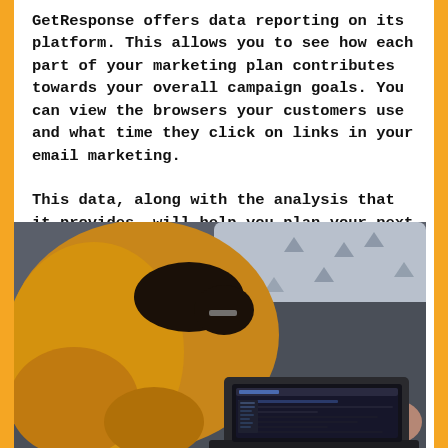GetResponse offers data reporting on its platform. This allows you to see how each part of your marketing plan contributes towards your overall campaign goals. You can view the browsers your customers use and what time they click on links in your email marketing.
This data, along with the analysis that it provides, will help you plan your next marketing campaigns better and pivot any ones that are not performing well.
[Figure (photo): Person wearing a yellow/mustard jacket sitting on a grey couch, viewed from behind/above, working on a laptop. A pillow with a pattern is visible in the upper right corner.]